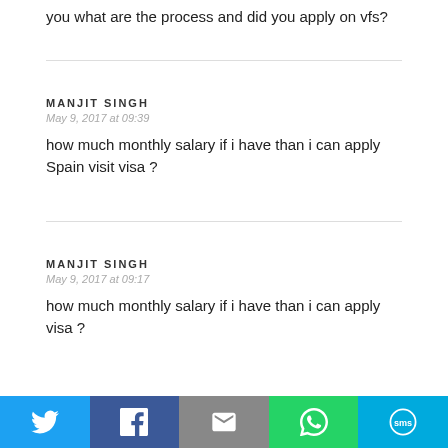you what are the process and did you apply on vfs?
MANJIT SINGH
May 9, 2017 at 09:39
how much monthly salary if i have than i can apply Spain visit visa ?
MANJIT SINGH
May 9, 2017 at 09:17
how much monthly salary if i have than i can apply visa ?